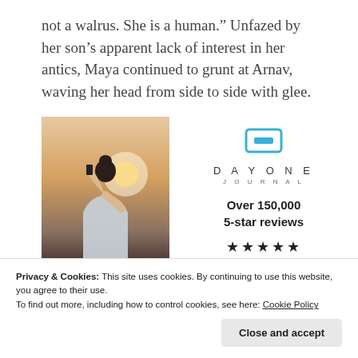not a walrus. She is a human.” Unfazed by her son’s apparent lack of interest in her antics, Maya continued to grunt at Arnav, waving her head from side to side with glee.
[Figure (photo): Person seen from behind, holding up a phone/camera, silhouetted against a pale sunset sky.]
[Figure (logo): Day One Journal app logo with icon and text: DAYONE JOURNAL. Over 150,000 5-star reviews. Five star rating.]
Privacy & Cookies: This site uses cookies. By continuing to use this website, you agree to their use.
To find out more, including how to control cookies, see here: Cookie Policy
Close and accept